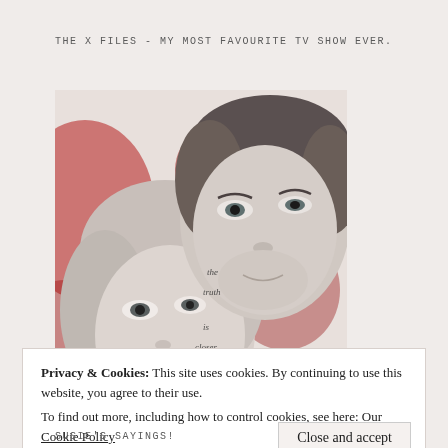THE X FILES - MY MOST FAVOURITE TV SHOW EVER.
[Figure (photo): X-Files promotional image showing two faces (Scully and Mulder) in black and white with red accents. Text overlay reads: the truth is closer than ever]
Privacy & Cookies: This site uses cookies. By continuing to use this website, you agree to their use.
To find out more, including how to control cookies, see here: Our Cookie Policy
Close and accept
SUSIE'S SAYINGS!